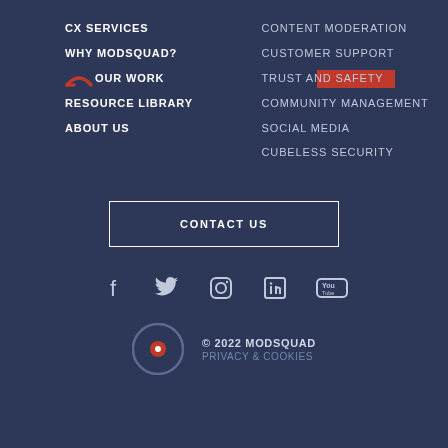CX SERVICES
WHY MODSQUAD?
OUR WORK
RESOURCE LIBRARY
ABOUT US
CONTENT MODERATION
CUSTOMER SUPPORT
TRUST AND SAFETY
COMMUNITY MANAGEMENT
SOCIAL MEDIA
CUBELESS SECURITY
CONTACT US
[Figure (infographic): Social media icons: Facebook, Twitter, Instagram, LinkedIn, YouTube]
© 2022 MODSQUAD PRIVACY & COOKIES